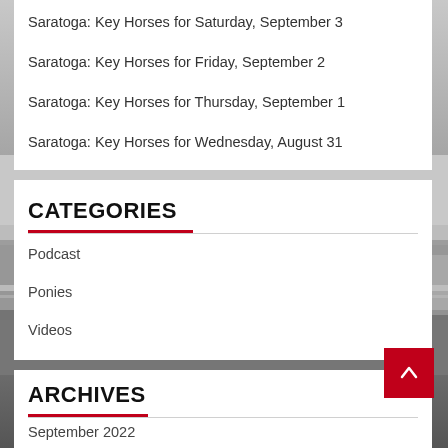Saratoga: Key Horses for Saturday, September 3
Saratoga: Key Horses for Friday, September 2
Saratoga: Key Horses for Thursday, September 1
Saratoga: Key Horses for Wednesday, August 31
[Figure (photo): Black and white photo of horses at a racetrack with fencing and grandstand in background]
CATEGORIES
Podcast
Ponies
Videos
ARCHIVES
September 2022